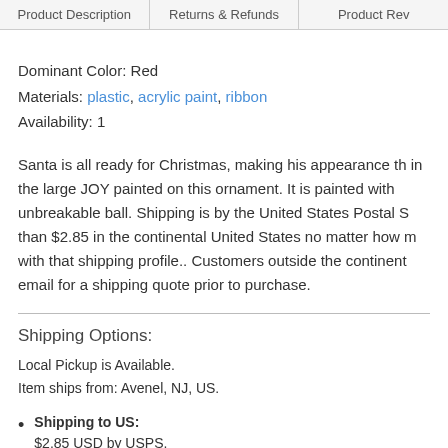Product Description | Returns & Refunds | Product Rev
Dominant Color: Red
Materials: plastic, acrylic paint, ribbon
Availability: 1
Santa is all ready for Christmas, making his appearance th in the large JOY painted on this ornament. It is painted with unbreakable ball. Shipping is by the United States Postal S than $2.85 in the continental United States no matter how m with that shipping profile.. Customers outside the continent email for a shipping quote prior to purchase.
Shipping Options:
Local Pickup is Available.
Item ships from: Avenel, NJ, US.
Shipping to US:
$2.85 USD by USPS.
Shipping to US:
$0.00 USD by Local pick up